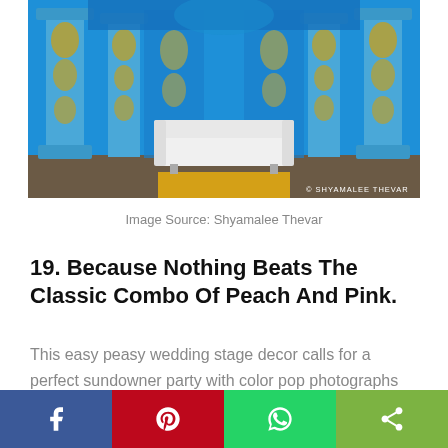[Figure (photo): Wedding stage with blue backdrop featuring ornate gold column designs and a white sofa/seating area in the center, with a yellow carpet. Watermark reads '© SHYAMALEE THEVAR'.]
Image Source: Shyamalee Thevar
19. Because Nothing Beats The Classic Combo Of Peach And Pink.
This easy peasy wedding stage decor calls for a perfect sundowner party with color pop photographs with peach-pink hues in the backdrop.
[Figure (infographic): Social media share bar with four buttons: Facebook (blue), Pinterest (red), WhatsApp (green), Share (light green)]